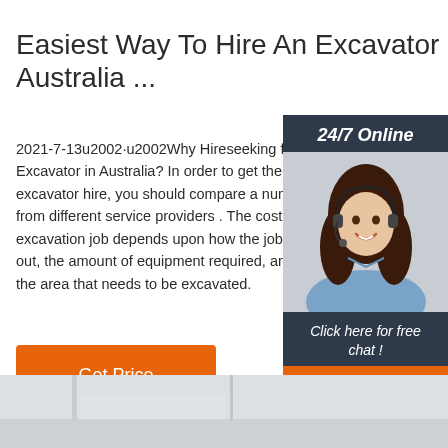Easiest Way To Hire An Excavator In Australia ...
2021-7-13u2002·u2002Why Hireseeking for Hire Excavator in Australia? In order to get the best excavator hire, you should compare a number from different service providers . The cost of the excavation job depends upon how the job is to be out, the amount of equipment required, and the area that needs to be excavated.
[Figure (photo): Customer service woman with headset smiling, used in a 24/7 online chat widget sidebar]
Get Price
[Figure (photo): Bottom partial photo of a room or building interior, light grey tones]